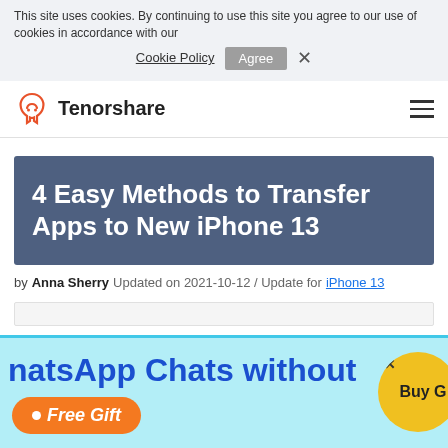This site uses cookies. By continuing to use this site you agree to our use of cookies in accordance with our Cookie Policy Agree X
Tenorshare
4 Easy Methods to Transfer Apps to New iPhone 13
by Anna Sherry  Updated on 2021-10-12 / Update for  iPhone 13
[Figure (screenshot): Advertisement banner: WhatsApp Chats without text in blue, Free Gift orange button, Buy button in yellow circle]